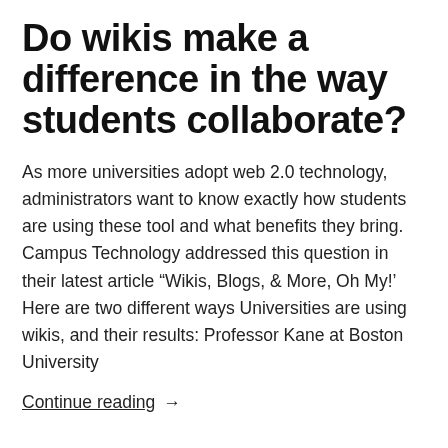Do wikis make a difference in the way students collaborate?
As more universities adopt web 2.0 technology, administrators want to know exactly how students are using these tool and what benefits they bring. Campus Technology addressed this question in their latest article “Wikis, Blogs, & More, Oh My!’ Here are two different ways Universities are using wikis, and their results: Professor Kane at Boston University
Continue reading →
By The PBworks Team   May 13, 2008